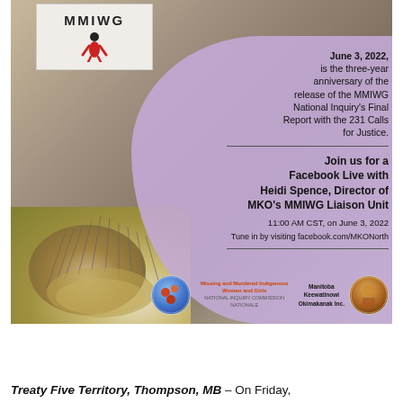[Figure (infographic): MMIWG event promotional image with a photo of a smudge bowl with herbs/sage in the left/foreground, an MMIWG card with a red figure in the upper left, and a purple overlay on the right side with text about the three-year anniversary of the MMIWG National Inquiry's Final Report and an invitation to a Facebook Live event with Heidi Spence, Director of MKO's MMIWG Liaison Unit. Logos for Missing and Murdered Indigenous Women and Girls and Manitoba Keewatinowi Okimakanak Inc. (MKO) are shown at the bottom.]
Treaty Five Territory, Thompson, MB – On Friday,